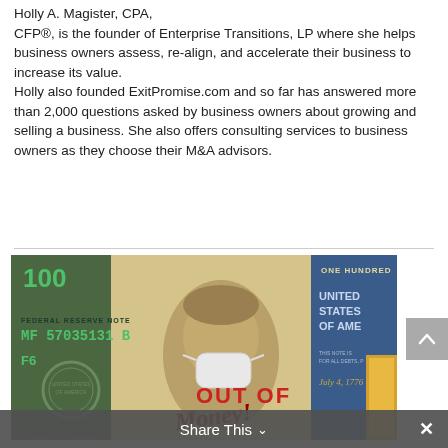Holly A. Magister, CPA, CFP®, is the founder of Enterprise Transitions, LP where she helps business owners assess, re-align, and accelerate their business to increase its value.
Holly also founded ExitPromise.com and so far has answered more than 2,000 questions asked by business owners about growing and selling a business. She also offers consulting services to business owners as they choose their M&A advisors.
[Figure (photo): A US $100 bill featuring Benjamin Franklin wearing a white medical/surgical mask with 'OUT OF Money!' text overlaid in red and dark script lettering.]
Share This